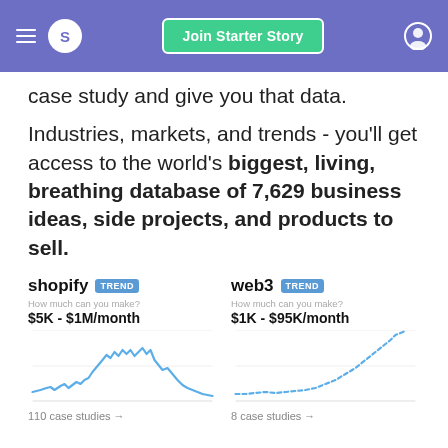S  Join Starter Story
case study and give you that data.
Industries, markets, and trends - you'll get access to the world's biggest, living, breathing database of 7,629 business ideas, side projects, and products to sell.
[Figure (line-chart): How much can you make? $5K - $1M/month. Line chart showing shopify trend over time. 110 case studies.]
[Figure (line-chart): How much can you make? $1K - $95K/month. Line chart showing web3 trend over time (dashed upward curve). 8 case studies.]